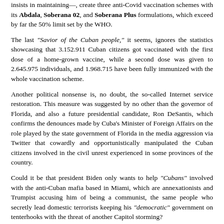insists in maintaining—, create three anti-Covid vaccination schemes with its Abdala, Soberana 02, and Soberana Plus formulations, which exceed by far the 50% limit set by the WHO.
The last "Savior of the Cuban people," it seems, ignores the statistics showcasing that 3.152.911 Cuban citizens got vaccinated with the first dose of a home-grown vaccine, while a second dose was given to 2.645.975 individuals, and 1.968.715 have been fully immunized with the whole vaccination scheme.
Another political nonsense is, no doubt, the so-called Internet service restoration. This measure was suggested by no other than the governor of Florida, and also a future presidential candidate, Ron DeSantis, which confirms the denounces made by Cuba's Minister of Foreign Affairs on the role played by the state government of Florida in the media aggression via Twitter that cowardly and opportunistically manipulated the Cuban citizens involved in the civil unrest experienced in some provinces of the country.
Could it be that president Biden only wants to help "Cubans" involved with the anti-Cuban mafia based in Miami, which are annexationists and Trumpist accusing him of being a communist, the same people who secretly lead domestic terrorists keeping his "democratic" government on tenterhooks with the threat of another Capitol storming?
Once again a US President uses the suffering of the Cuban people to solve his domestic issues.
By continuing the existing 243 measures imposed by Trump during his time in office, in addition to appeasing the terrorist pack of Miami, according to the viewpoint of several analysts, he is doing business with the situation in Cuba to make an impact in the elections of Florida, a crucial state he lost to Trump last year.
As confirmed by the New York Times journalist David Brooks in his article "Biden